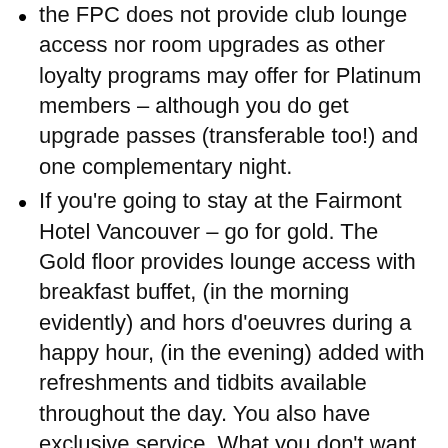the FPC does not provide club lounge access nor room upgrades as other loyalty programs may offer for Platinum members – although you do get upgrade passes (transferable too!) and one complementary night.
If you're going to stay at the Fairmont Hotel Vancouver – go for gold. The Gold floor provides lounge access with breakfast buffet, (in the morning evidently) and hors d'oeuvres during a happy hour, (in the evening) added with refreshments and tidbits available throughout the day. You also have exclusive service. What you don't want to miss however is the late night snack every evening from 8 PM to 10 PM because who doesn't love delicious food before retiring to a good rest. Expect personalized concierge service from the Fairmont Gold Concierge team.